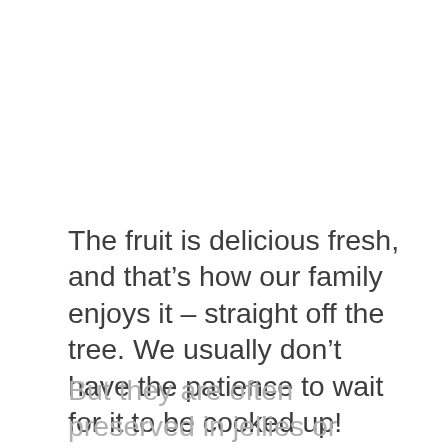The fruit is delicious fresh, and that’s how our family enjoys it – straight off the tree. We usually don’t have the patience to wait for it to be cooked up!
But they are often preserved in jellies or jams, and we have occasionally